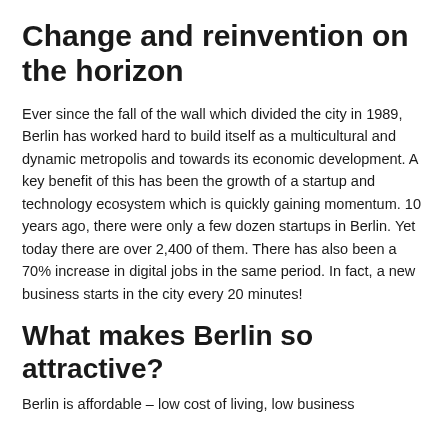Change and reinvention on the horizon
Ever since the fall of the wall which divided the city in 1989, Berlin has worked hard to build itself as a multicultural and dynamic metropolis and towards its economic development. A key benefit of this has been the growth of a startup and technology ecosystem which is quickly gaining momentum. 10 years ago, there were only a few dozen startups in Berlin. Yet today there are over 2,400 of them. There has also been a 70% increase in digital jobs in the same period. In fact, a new business starts in the city every 20 minutes!
What makes Berlin so attractive?
Berlin is affordable – low cost of living, low business